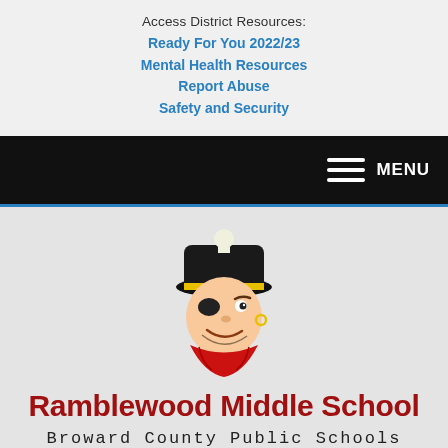Access District Resources:
Ready For You 2022/23
Mental Health Resources
Report Abuse
Safety and Security
[Figure (illustration): Ramblewood Middle School pirate mascot logo - cartoon pirate face with black hat, eye patch, red bandana]
Ramblewood Middle School
Broward County Public Schools